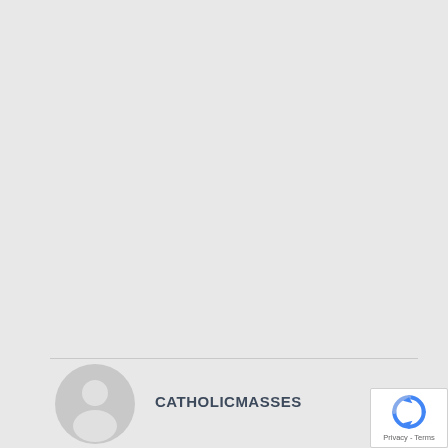[Figure (photo): Gray background taking up most of the page — blank/empty content area]
[Figure (photo): Generic circular user avatar icon with silhouette of a person, gray tones]
CATHOLICMASSES
[Figure (logo): reCAPTCHA logo widget with blue circular arrows icon, and 'Privacy - Terms' text below]